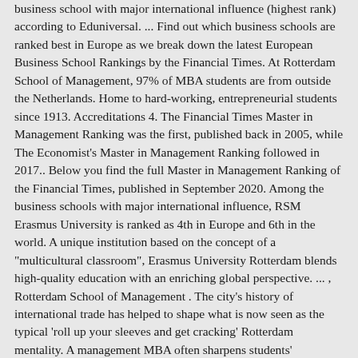business school with major international influence (highest rank) according to Eduniversal. ... Find out which business schools are ranked best in Europe as we break down the latest European Business School Rankings by the Financial Times. At Rotterdam School of Management, 97% of MBA students are from outside the Netherlands. Home to hard-working, entrepreneurial students since 1913. Accreditations 4. The Financial Times Master in Management Ranking was the first, published back in 2005, while The Economist's Master in Management Ranking followed in 2017.. Below you find the full Master in Management Ranking of the Financial Times, published in September 2020. Among the business schools with major international influence, RSM Erasmus University is ranked as 4th in Europe and 6th in the world. A unique institution based on the concept of a "multicultural classroom", Erasmus University Rotterdam blends high-quality education with an enriching global perspective. ... , Rotterdam School of Management . The city's history of international trade has helped to shape what is now seen as the typical 'roll up your sleeves and get cracking' Rotterdam mentality. A management MBA often sharpens students' leadership skills and confidence and leads to top business jobs. The Financial Times is generally considered to be the worldâs leading provider of business school rankings at both school and programme level. See the Ranking 2019: MSc in Supply